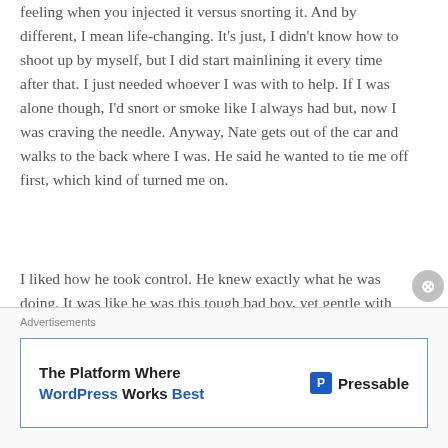feeling when you injected it versus snorting it. And by different, I mean life-changing. It’s just, I didn’t know how to shoot up by myself, but I did start mainlining it every time after that. I just needed whoever I was with to help. If I was alone though, I’d snort or smoke like I always had but, now I was craving the needle. Anyway, Nate gets out of the car and walks to the back where I was. He said he wanted to tie me off first, which kind of turned me on.
I liked how he took control. He knew exactly what he was doing. It was like he was this tough bad boy, yet gentle with me. After I go, they do their thing. Before long, we’re back in the car chain-smoking cigarettes. After that, Nick said he wanted to swing by this pawn shop to see how much he could get for his old guitar and a few pieces of stolen jewelry. So we drive, I remember pulling in. Nate and I get
Advertisements
[Figure (other): Advertisement banner: 'The Platform Where WordPress Works Best' with Pressable logo on the right]